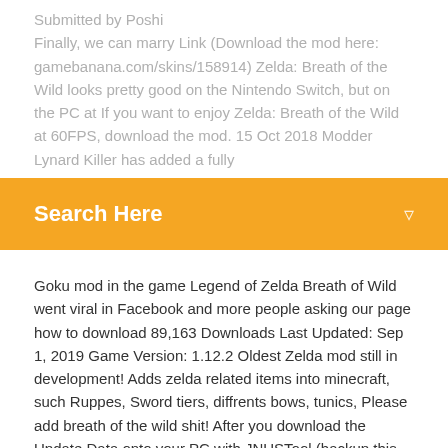Submitted by Poshi Finally, we can marry Link (Download the mod here: gamebanana.com/skins/158914) Zelda: Breath of the Wild looks pretty good on the Nintendo Switch, but on the PC at If you want to enjoy Zelda: Breath of the Wild at 60FPS, download the mod. 15 Oct 2018 Modder Lynard Killer has added a fully
Search Here
Goku mod in the game Legend of Zelda Breath of Wild went viral in Facebook and more people asking our page how to download 89,163 Downloads Last Updated: Sep 1, 2019 Game Version: 1.12.2 Oldest Zelda mod still in development! Adds zelda related items into minecraft, such Ruppes, Sword tiers, diffrents bows, tunics, Please add breath of the wild shit! After you download the Update Data onto your PC with JNUSTool (backup this data SD:/wiiu/games/Breath of the Wild [XXXXXX]/updates/Zelda Mod/code/